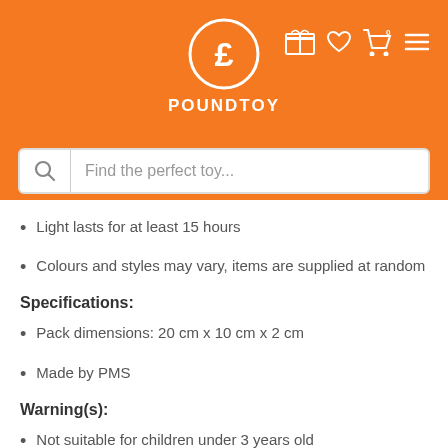[Figure (logo): Poundtoy logo: white circle with pound sign (£) on orange background, with text POUNDTOY below, and icons (gift, heart, cart, menu) on the right]
[Figure (screenshot): Search bar with magnifying glass icon and placeholder text: Find the perfect toy...]
Light lasts for at least 15 hours
Colours and styles may vary, items are supplied at random
Specifications:
Pack dimensions: 20 cm x 10 cm x 2 cm
Made by PMS
Warning(s):
Not suitable for children under 3 years old
May include small parts